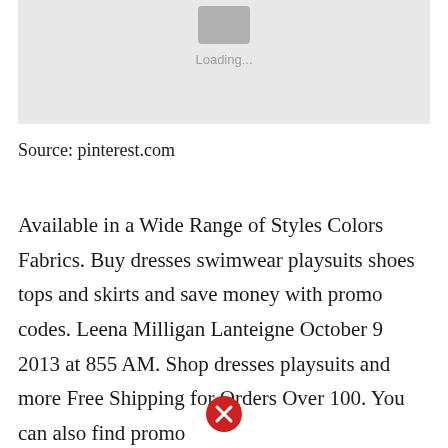[Figure (screenshot): Loading placeholder image with grey background, a grey image icon, and 'Loading...' text below it]
Source: pinterest.com
Available in a Wide Range of Styles Colors Fabrics. Buy dresses swimwear playsuits shoes tops and skirts and save money with promo codes. Leena Milligan Lanteigne October 9 2013 at 855 AM. Shop dresses playsuits and more Free Shipping for Orders Over 100. You can also find promo